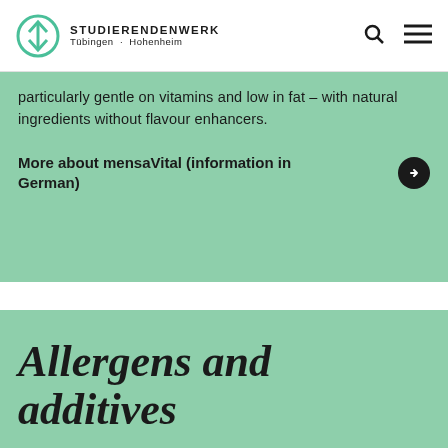STUDIERENDENWERK Tübingen · Hohenheim
particularly gentle on vitamins and low in fat – with natural ingredients without flavour enhancers.
More about mensaVital (information in German)
Allergens and additives